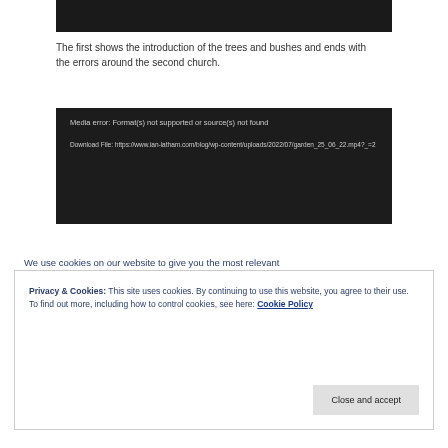[Figure (screenshot): Black video player bar at top of page]
The first shows the introduction of the trees and bushes and ends with the errors around the second church.
[Figure (screenshot): Media error box with dark background reading: Media error: Format(s) not supported or source(s) not found. Download File: https://www.ian-latham.com/blog/wp-content/uploads/2022/07/garden_25_06_22.mp4?_=2]
We use cookies on our website to give you the most relevant
Privacy & Cookies: This site uses cookies. By continuing to use this website, you agree to their use.
To find out more, including how to control cookies, see here: Cookie Policy